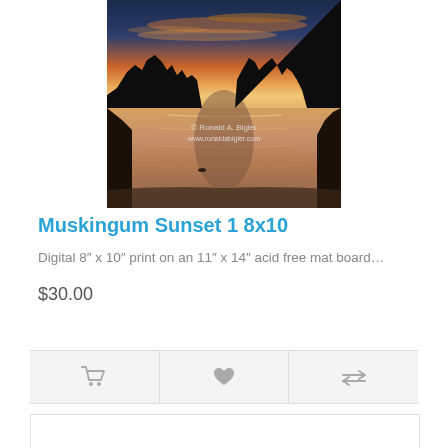[Figure (photo): Photograph of a sunset over a river (Muskingum Sunset), with silhouetted trees and golden reflections on water. Watermark text: '© Ronald A. Bigler www.ronaldabigler.com']
Muskingum Sunset 1 8x10
Digital 8″ x 10″ print on an 11″ x 14″ acid free mat board...
$30.00